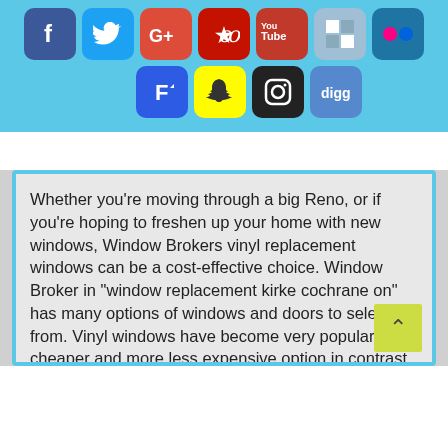[Figure (infographic): Social media icons banner on light blue background: Facebook, Twitter, Google+, Yelp, YouTube, ShareThis, Flickr (top row); Foursquare, Snapchat, Instagram, Digg (bottom row)]
Whether you’re moving through a big Reno, or if you’re hoping to freshen up your home with new windows, Window Brokers vinyl replacement windows can be a cost-effective choice. Window Broker in “window replacement kirke cochrane on” has many options of windows and doors to select from. Vinyl windows have become very popular, As a cheaper and more less expensive option in contrast to both wood and aluminum windows, PVC replacement windows end up being an extraordinary decision for homeowners who want to